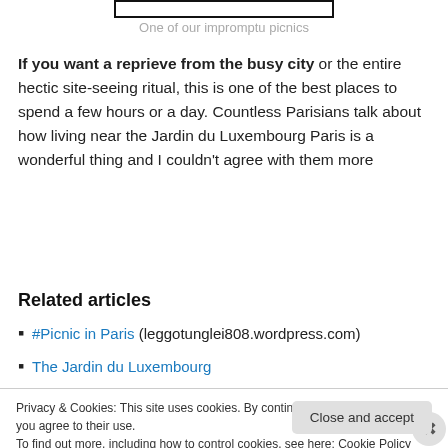[Figure (other): Top edge of an image (photo border visible at top)]
One of our impromptu picnics
If you want a reprieve from the busy city or the entire hectic site-seeing ritual, this is one of the best places to spend a few hours or a day. Countless Parisians talk about how living near the Jardin du Luxembourg Paris is a wonderful thing and I couldn't agree with them more
Related articles
#Picnic in Paris (leggotunglei808.wordpress.com)
The Jardin du Luxembourg
Privacy & Cookies: This site uses cookies. By continuing to use this website, you agree to their use.
To find out more, including how to control cookies, see here: Cookie Policy